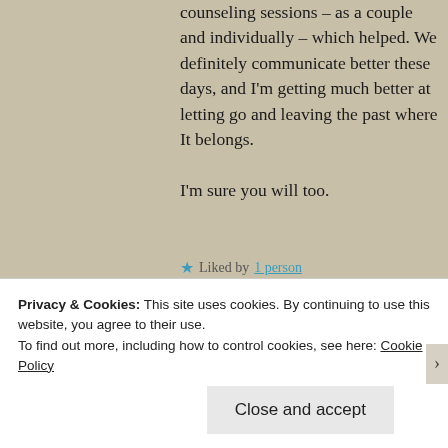counseling sessions – as a couple and individually – which helped. We definitely communicate better these days, and I'm getting much better at letting go and leaving the past where It belongs.

I'm sure you will too.
Liked by 1 person
Lolsy's Library says:
April 2, 2016 at 12:43 am
Darn that non-overnight cure
Privacy & Cookies: This site uses cookies. By continuing to use this website, you agree to their use.
To find out more, including how to control cookies, see here: Cookie Policy
Close and accept